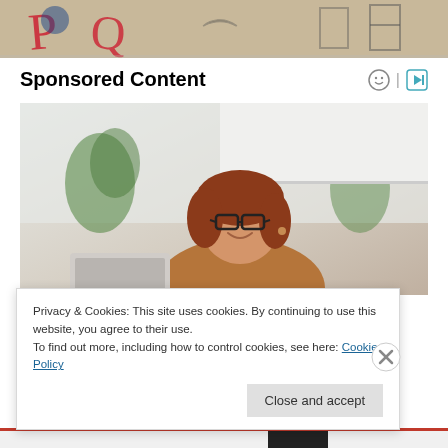[Figure (photo): Cropped top portion of a graffiti or street art image with colorful letters on a beige/cardboard background]
Sponsored Content
[Figure (photo): Young woman with red/auburn hair and glasses, wearing a brown top, smiling while looking at a laptop in a bright kitchen setting]
Privacy & Cookies: This site uses cookies. By continuing to use this website, you agree to their use.
To find out more, including how to control cookies, see here: Cookie Policy
Close and accept